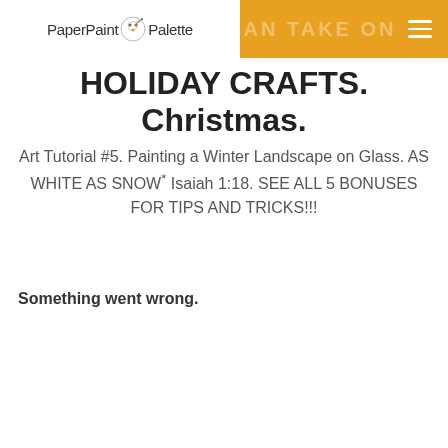PaperPaint & Palette  [AN TAKE ON (partial)]
HOLIDAY CRAFTS. Christmas.
Art Tutorial #5. Painting a Winter Landscape on Glass. AS WHITE AS SNOW* Isaiah 1:18. SEE ALL 5 BONUSES FOR TIPS AND TRICKS!!!
Something went wrong.